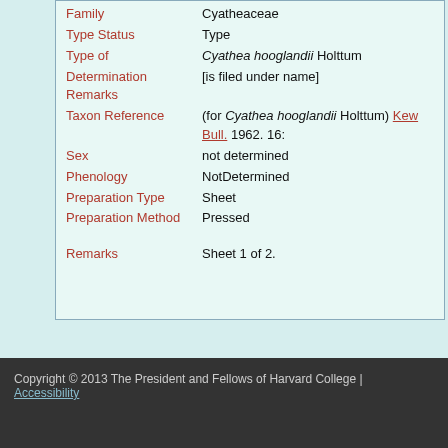| Field | Value |
| --- | --- |
| Family | Cyatheaceae |
| Type Status | Type |
| Type of | Cyathea hooglandii Holttum |
| Determination Remarks | [is filed under name] |
| Taxon Reference | (for Cyathea hooglandii Holttum) Kew Bull. 1962. 16:... |
| Sex | not determined |
| Phenology | NotDetermined |
| Preparation Type | Sheet |
| Preparation Method | Pressed |
| Remarks | Sheet 1 of 2. |
Copyright © 2013 The President and Fellows of Harvard College | Accessibility